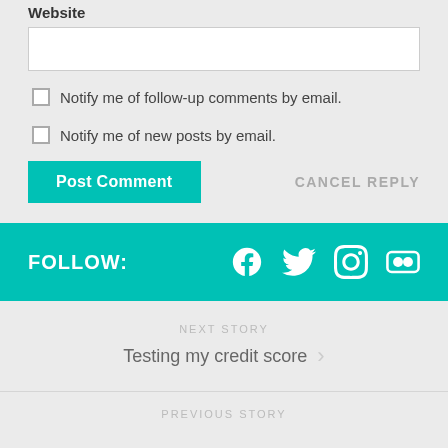Website
Notify me of follow-up comments by email.
Notify me of new posts by email.
Post Comment
CANCEL REPLY
FOLLOW:
[Figure (other): Social media icons: Facebook, Twitter, Instagram, Flickr]
NEXT STORY
Testing my credit score
PREVIOUS STORY